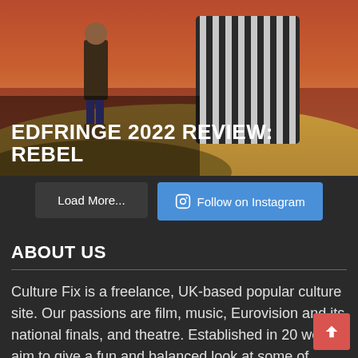[Figure (photo): Promotional image for EdFringe 2022 Review: Rebel. Shows two figures in dramatic costumes on a rocky landscape with a sunset/orange sky. One figure wears a striped cape, the other has blue trousers and boots. Large white bold text overlaid reads 'EDFRINGE 2022 REVIEW: REBEL'.]
Load More...
Follow on Instagram
ABOUT US
Culture Fix is a freelance, UK-based popular culture site. Our passions are film, music, Eurovision and its national finals, and theatre. Established in 20 we aim to give a fun and balanced look at some of